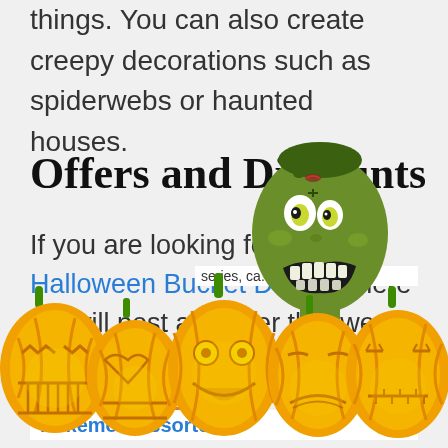things. You can also create creepy decorations such as spiderwebs or haunted houses.
Offers and Discounts
If you are looking for cheap Halloween Bucket Dragon, here we will post any offer that we find:
[Figure (illustration): Zombie cartoon head illustration overlaid on section header]
BESTSELLER NO. 1
SALE
Pokémon Assorted ..
[Figure (illustration): Row of six Halloween jack-o-lantern pumpkins along the bottom of the page]
series, ca... t is a